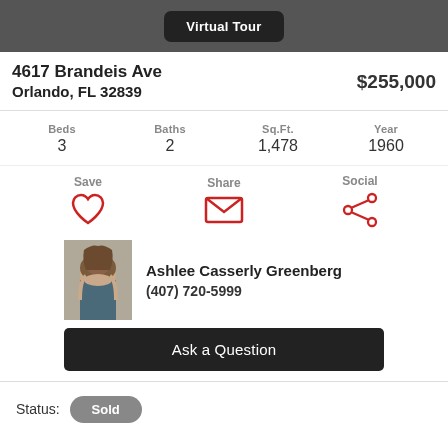Virtual Tour
4617 Brandeis Ave
Orlando, FL 32839
$255,000
Beds 3  Baths 2  Sq.Ft. 1,478  Year 1960
Save  Share  Social
[Figure (photo): Headshot photo of real estate agent Ashlee Casserly Greenberg]
Ashlee Casserly Greenberg
(407) 720-5999
Ask a Question
Status: Sold